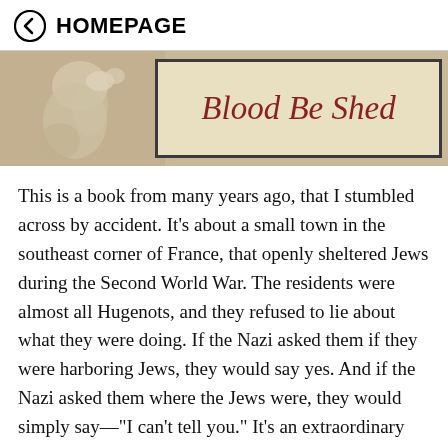← HOMEPAGE
[Figure (photo): Book cover image showing 'Blood Be Shed' title text in red-brown serif font on a light beige background with border, with a statue figure visible on the left side]
This is a book from many years ago, that I stumbled across by accident. It's about a small town in the southeast corner of France, that openly sheltered Jews during the Second World War. The residents were almost all Hugenots, and they refused to lie about what they were doing. If the Nazi asked them if they were harboring Jews, they would say yes. And if the Nazi asked them where the Jews were, they would simply say—"I can't tell you." It's an extraordinary story, and a reminder that in the face of courage and commitment there is very little even the most